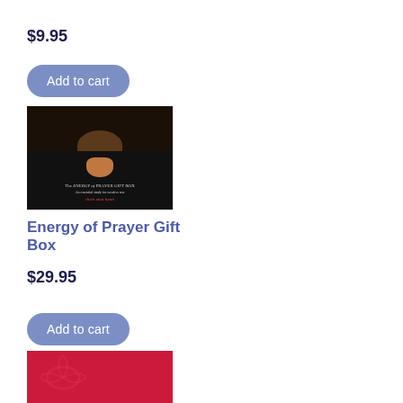$9.95
Add to cart
[Figure (photo): Book cover for 'The Energy of Prayer Gift Box' by Thich Nhat Hanh. Dark background showing a person's chin and clasped hands in prayer position. Small text at bottom reads the book title and author name in white and red.]
Energy of Prayer Gift Box
$29.95
Add to cart
[Figure (photo): Partial view of a red/crimson book cover with a faint pink lotus or figure design in the background.]